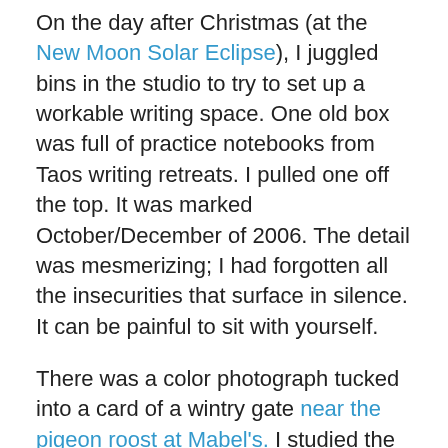On the day after Christmas (at the New Moon Solar Eclipse), I juggled bins in the studio to try to set up a workable writing space. One old box was full of practice notebooks from Taos writing retreats. I pulled one off the top. It was marked October/December of 2006. The detail was mesmerizing; I had forgotten all the insecurities that surface in silence. It can be painful to sit with yourself.
There was a color photograph tucked into a card of a wintry gate near the pigeon roost at Mabel's. I studied the faces of Natalie, Maria, and the 21 people who attended the four-season Intensive that year. Some have become teachers and grandparents, retired, or moved across country. Many have published their work. Several have passed on to the other side. What happens to our art and writing when we die?